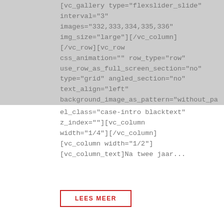[Figure (logo): The Nut Shell logo — circular with red arc and black text reading 'the NUT SHELL']
[vc_gallery type="flexslider_slide" interval="3" images="332,333,334,335,336" img_size="large"][/vc_column][/vc_row][vc_row css_animation="" row_type="row" use_row_as_full_screen_section="no" type="grid" angled_section="no" text_align="left" background_image_as_pattern="without_patter el_class="case-intro blacktext" z_index=""][vc_column width="1/4"][/vc_column][vc_column width="1/2"][vc_column_text]Na twee jaar...
LEES MEER